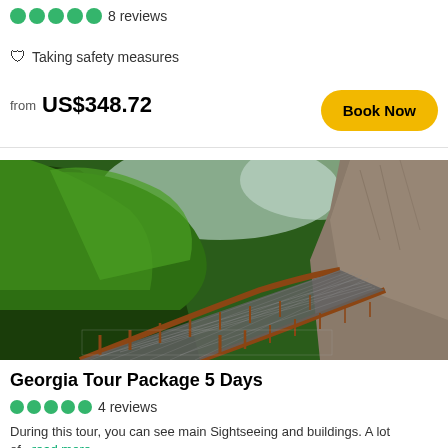8 reviews
Taking safety measures
from US$348.72
Book Now
[Figure (photo): A metal grid walkway/bridge suspended along a steep rocky cliff face, surrounded by lush green forested mountains and canyon, viewed from a low angle looking along the railing.]
Georgia Tour Package 5 Days
4 reviews
During this tour, you can see main Sightseeing and buildings. A lot of...read more